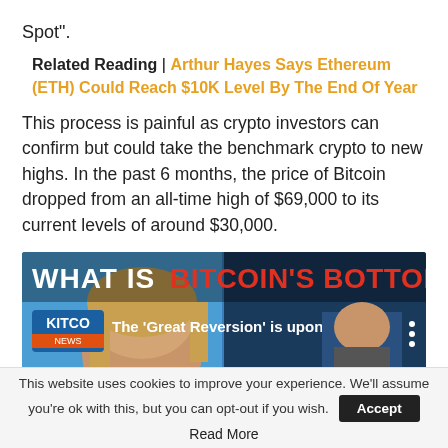Spot”.
Related Reading | Arthur Hayes Says Ethereum (ETH) Could Reach $10K Level By The End Of Year
This process is painful as crypto investors can confirm but could take the benchmark crypto to new highs. In the past 6 months, the price of Bitcoin dropped from an all-time high of $69,000 to its current levels of around $30,000.
[Figure (screenshot): Video thumbnail showing 'WHAT IS BITCOIN'S BOTTOM?' with Kitco News logo and subtitle 'The ‘Great Reversion’ is upon us, de...' with a news presenter visible on screen.]
This website uses cookies to improve your experience. We’ll assume you’re ok with this, but you can opt-out if you wish. Accept
Read More